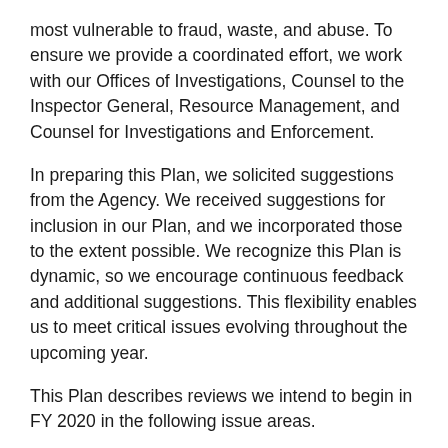most vulnerable to fraud, waste, and abuse. To ensure we provide a coordinated effort, we work with our Offices of Investigations, Counsel to the Inspector General, Resource Management, and Counsel for Investigations and Enforcement.
In preparing this Plan, we solicited suggestions from the Agency. We received suggestions for inclusion in our Plan, and we incorporated those to the extent possible. We recognize this Plan is dynamic, so we encourage continuous feedback and additional suggestions. This flexibility enables us to meet critical issues evolving throughout the upcoming year.
This Plan describes reviews we intend to begin in FY 2020 in the following issue areas.
Improve Service Delivery